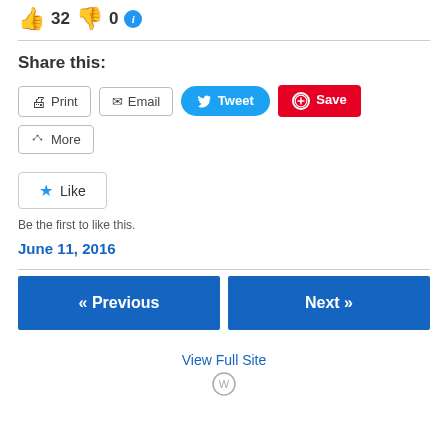👍 32 👎 0 ℹ
Share this:
Print | Email | Tweet | Save | More
★ Like
Be the first to like this.
June 11, 2016
« Previous
Next »
View Full Site